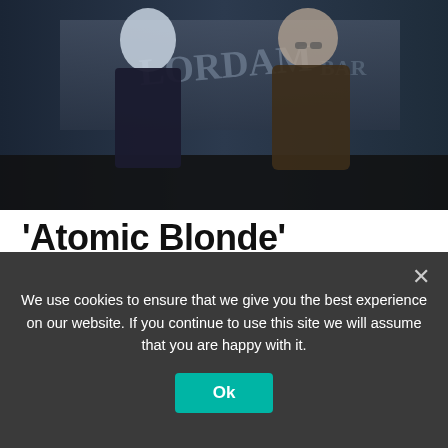[Figure (photo): Movie still from Atomic Blonde showing two characters — a blonde woman in black coat and a man in fur coat — standing against a graffiti-covered wall]
'Atomic Blonde' Reveals Featurette Titled 'Fight Like A Girl' | Film Trailer
by George Ghiu · July 13, 2017
We use cookies to ensure that we give you the best experience on our website. If you continue to use this site we will assume that you are happy with it.
Ok